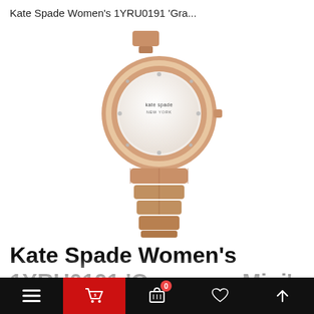Kate Spade Women's 1YRU0191 'Gra...
[Figure (photo): Kate Spade Women's 1YRU0191 'Gramercy Mini' Crystal Rose-Tone Stainless Steel Watch product photo showing the watch with rose gold bracelet and white dial with crystal markers, kate spade new york branding on the dial, on a white background.]
Kate Spade Women's 1YRU0191 'Gramercy Mini' Crystal Rose-Tone Stainless Steel Watch
Navigation bar with menu, cart (0), bag, heart, and up-arrow icons